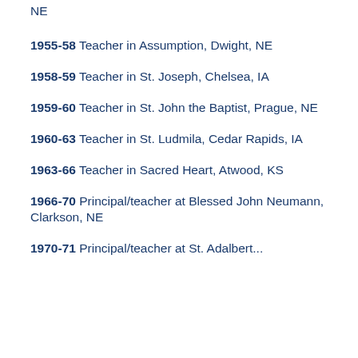NE
1955-58 Teacher in Assumption, Dwight, NE
1958-59 Teacher in St. Joseph, Chelsea, IA
1959-60 Teacher in St. John the Baptist, Prague, NE
1960-63 Teacher in St. Ludmila, Cedar Rapids, IA
1963-66 Teacher in Sacred Heart, Atwood, KS
1966-70 Principal/teacher at Blessed John Neumann, Clarkson, NE
1970-71 Principal/teacher at St. Adalbert...